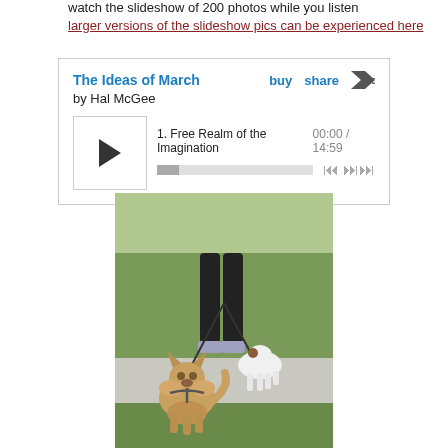watch the slideshow of 200 photos while you listen
larger versions of the slideshow pics can be experienced here
[Figure (screenshot): Bandcamp embedded music player showing 'The Ideas of March' by Hal McGee, with a play button, track '1. Free Realm of the Imagination', time 00:00 / 14:59, and buy/share/bandcamp controls]
[Figure (photo): Outdoor photo of a person walking two dogs on leashes on a sidewalk — a fluffy tan/brown dog and a white dog with brown spots, on a grassy area]